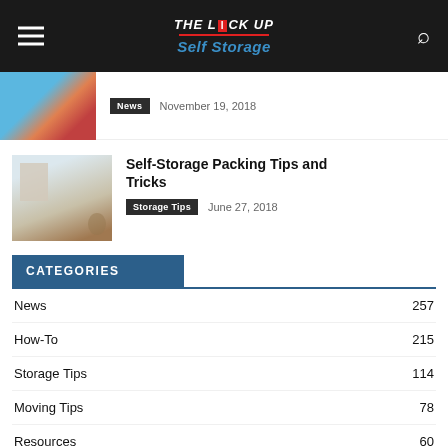THE LOCK UP Self Storage
News  November 19, 2018
Self-Storage Packing Tips and Tricks
Storage Tips  June 27, 2018
CATEGORIES
News  257
How-To  215
Storage Tips  114
Moving Tips  78
Resources  60
Storage by Item  57